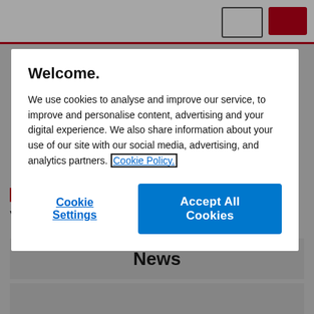[Figure (screenshot): Website page background showing navigation bar with red and outlined buttons, a red horizontal line, and content area with 'View Energy by content type:' heading and News section boxes]
Welcome.
We use cookies to analyse and improve our service, to improve and personalise content, advertising and your digital experience. We also share information about your use of our site with our social media, advertising, and analytics partners. Cookie Policy.
Cookie Settings
Accept All Cookies
View Energy by content type:
News